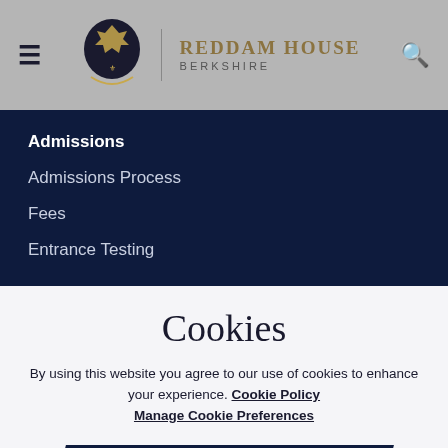REDDAM HOUSE BERKSHIRE
Admissions
Admissions Process
Fees
Entrance Testing
Cookies
By using this website you agree to our use of cookies to enhance your experience. Cookie Policy Manage Cookie Preferences
ACCEPT ALL COOKIES